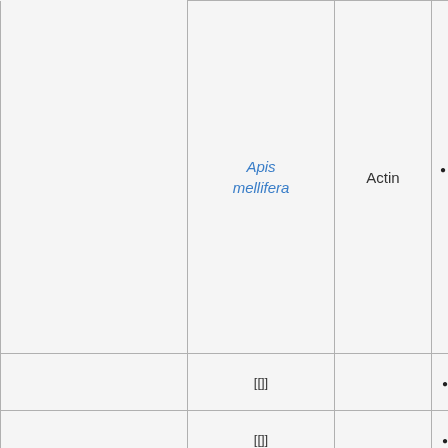| (partial left col) | Apis mellifera | Actin | Bacterial Challenge (partial) |
| --- | --- | --- | --- |
|  | Apis mellifera | Actin | • Bacterial Challenge (partial) |
|  | [[]] |  | • ' |
|  | [[]] |  | • ' |
|  | [[]] |  | • ' |
|  | [[]] |  | • ' |